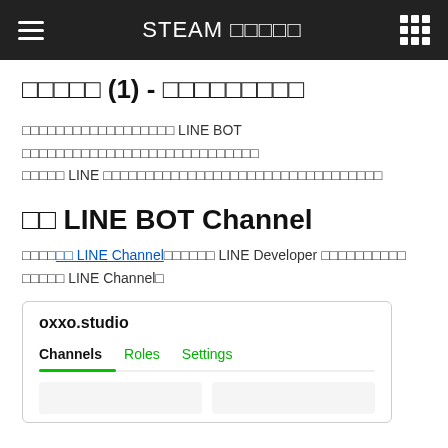STEAM ??????
?????? (1) - ?????????
?????????????????? LINE BOT ????????????????????????????????? ?????? LINE ??????????????????????????????????????????
?? LINE BOT Channel
?????[?? LINE Channel]?????? LINE Developer ?????????????????????????? LINE Channel?
[Figure (screenshot): Screenshot of oxxo.studio LINE Developer console showing Channels, Roles, and Settings tabs with Channels tab active (green underline).]